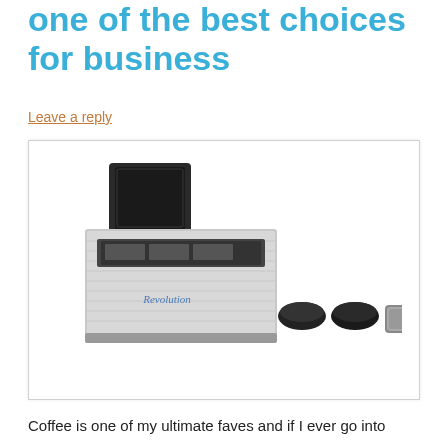one of the best choices for business
Leave a reply
[Figure (photo): A coffee grinder machine (Revolution brand, stainless steel body with black hopper on top) shown alongside small black portafilter baskets and a metal filter basket, all on a white background.]
Coffee is one of my ultimate faves and if I ever go into